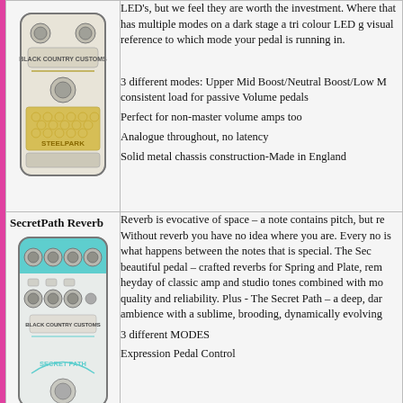[Figure (photo): Black Country Customs Steelpark guitar pedal - white/cream pedal with gold honeycomb pattern and knobs on top]
LED's, but we feel they are worth the investment. Where that has multiple modes on a dark stage a tri colour LED g visual reference to which mode your pedal is running in.
3 different modes: Upper Mid Boost/Neutral Boost/Low M consistent load for passive Volume pedals
Perfect for non-master volume amps too
Analogue throughout, no latency
Solid metal chassis construction-Made in England
SecretPath Reverb
[Figure (photo): Black Country Customs Secret Path Reverb guitar pedal - white pedal with teal/turquoise accents and multiple knobs]
Reverb is evocative of space – a note contains pitch, but re Without reverb you have no idea where you are. Every no is what happens between the notes that is special. The Sec beautiful pedal – crafted reverbs for Spring and Plate, rem heyday of classic amp and studio tones combined with mo quality and reliability. Plus - The Secret Path – a deep, dar ambience with a sublime, brooding, dynamically evolving
3 different MODES
Expression Pedal Control